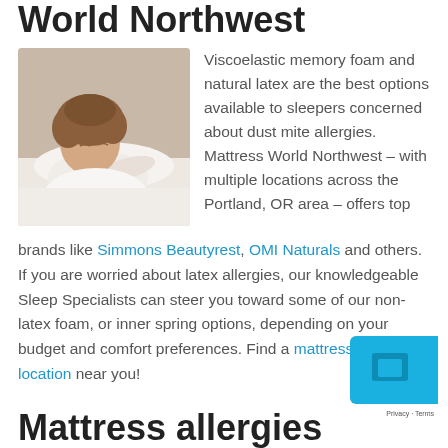World Northwest
[Figure (photo): Woman sleeping peacefully on white bedding, curly hair, white clothing]
Viscoelastic memory foam and natural latex are the best options available to sleepers concerned about dust mite allergies. Mattress World Northwest – with multiple locations across the Portland, OR area – offers top brands like Simmons Beautyrest, OMI Naturals and others. If you are worried about latex allergies, our knowledgeable Sleep Specialists can steer you toward some of our non-latex foam, or inner spring options, depending on your budget and comfort preferences. Find a mattress store location near you!
Mattress allergies